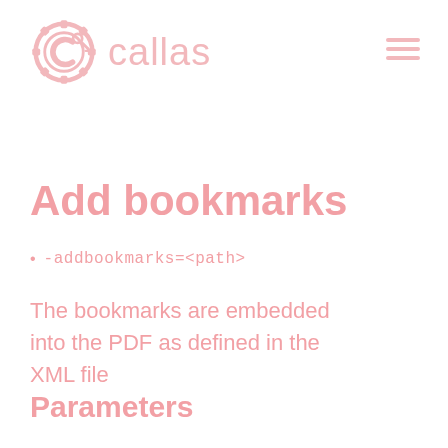[Figure (logo): Callas software logo: a pink/rose gear-like circular icon with a stylized C, followed by the text 'callas' in pink sans-serif]
Add bookmarks
- addbookmarks=<path>
The bookmarks are embedded into the PDF as defined in the XML file
Parameters